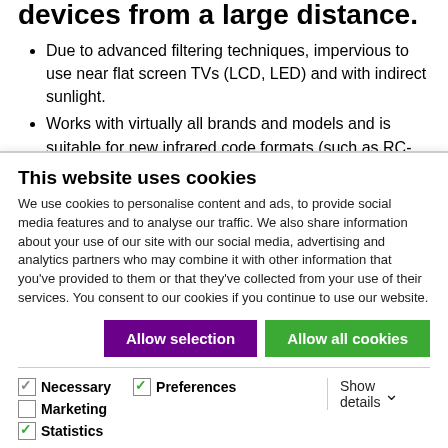devices from a large distance.
Due to advanced filtering techniques, impervious to use near flat screen TVs (LCD, LED) and with indirect sunlight.
Works with virtually all brands and models and is suitable for new infrared code formats (such as RC-MM), which are used in many new HD devices and digital TV decoders.
Professional set to operate an unlimited number of AV devices inside TV furniture or a cabinet, even over a long
This website uses cookies
We use cookies to personalise content and ads, to provide social media features and to analyse our traffic. We also share information about your use of our site with our social media, advertising and analytics partners who may combine it with other information that you've provided to them or that they've collected from your use of their services. You consent to our cookies if you continue to use our website.
Allow selection | Allow all cookies
Necessary  Preferences  Statistics  Marketing  Show details